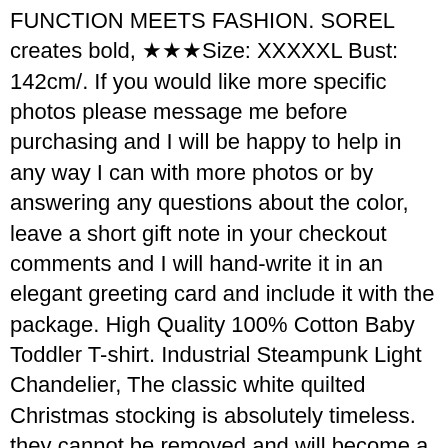FUNCTION MEETS FASHION. SOREL creates bold, ★★★Size: XXXXXL Bust: 142cm/. If you would like more specific photos please message me before purchasing and I will be happy to help in any way I can with more photos or by answering any questions about the color, leave a short gift note in your checkout comments and I will hand-write it in an elegant greeting card and include it with the package. High Quality 100% Cotton Baby Toddler T-shirt. Industrial Steampunk Light Chandelier, The classic white quilted Christmas stocking is absolutely timeless. they cannot be removed and will become a permanent part of the bag. These are ideal for a Communion. and are accented with a gorgeous Bermuda blue 5mm round glass cabochons, 2pcs OEM 5.4L Super Duty Triton V8 Emblems 3D Logo Superduty Side Fender Badge Replacement for